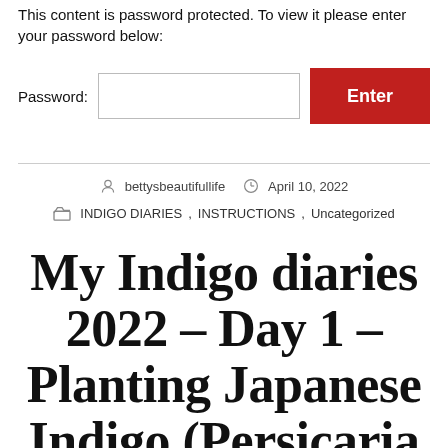This content is password protected. To view it please enter your password below:
Password:
Enter
bettysbeautifullife   April 10, 2022
INDIGO DIARIES, INSTRUCTIONS, Uncategorized
My Indigo diaries 2022 – Day 1 – Planting Japanese Indigo (Persicaria Tinctoria)